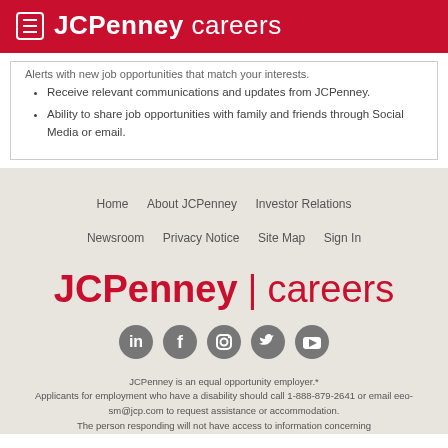JCPenney careers
Alerts with new job opportunities that match your interests.
Receive relevant communications and updates from JCPenney.
Ability to share job opportunities with family and friends through Social Media or email.
Home   About JCPenney   Investor Relations   Newsroom   Privacy Notice   Site Map   Sign In
[Figure (logo): JCPenney | careers logo in red]
[Figure (infographic): Social media icons: LinkedIn, Facebook, Instagram, Twitter, YouTube]
JCPenney is an equal opportunity employer.* Applicants for employment who have a disability should call 1-888-879-2641 or email eeo-sm@jcp.com to request assistance or accommodation. The person responding will not have access to information concerning